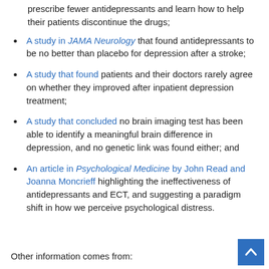prescribe fewer antidepressants and learn how to help their patients discontinue the drugs;
A study in JAMA Neurology that found antidepressants to be no better than placebo for depression after a stroke;
A study that found patients and their doctors rarely agree on whether they improved after inpatient depression treatment;
A study that concluded no brain imaging test has been able to identify a meaningful brain difference in depression, and no genetic link was found either; and
An article in Psychological Medicine by John Read and Joanna Moncrieff highlighting the ineffectiveness of antidepressants and ECT, and suggesting a paradigm shift in how we perceive psychological distress.
Other information comes from: